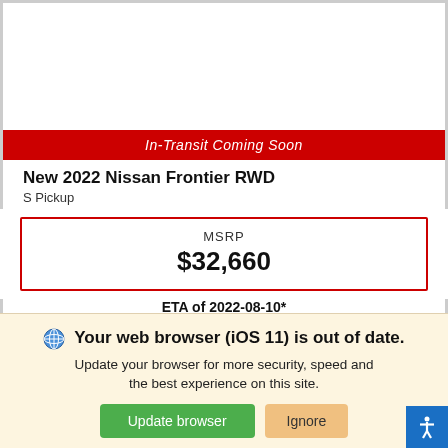[Figure (screenshot): Top white area - vehicle image placeholder, white box with borders]
In-Transit Coming Soon
New 2022 Nissan Frontier RWD
S Pickup
| MSRP | $32,660 |
ETA of 2022-08-10*
[Figure (screenshot): Contact form with First Name, Last Name, and Email input fields]
Your web browser (iOS 11) is out of date. Update your browser for more security, speed and the best experience on this site.
Update browser
Ignore